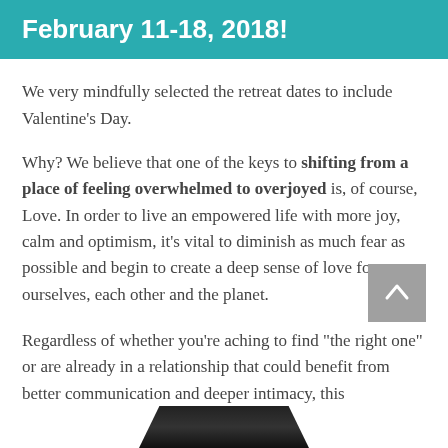February 11-18, 2018!
We very mindfully selected the retreat dates to include Valentine's Day.
Why? We believe that one of the keys to shifting from a place of feeling overwhelmed to overjoyed is, of course, Love. In order to live an empowered life with more joy, calm and optimism, it's vital to diminish as much fear as possible and begin to create a deep sense of love for ourselves, each other and the planet.
Regardless of whether you're aching to find "the right one" or are already in a relationship that could benefit from better communication and deeper intimacy, this